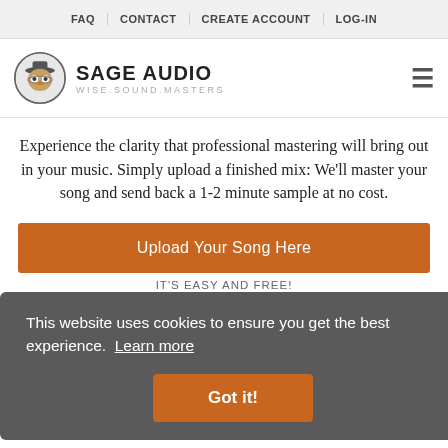FAQ | CONTACT | CREATE ACCOUNT | LOG-IN
[Figure (logo): Sage Audio logo: circular emblem with stylized owl/bird character, brand name SAGE AUDIO and tagline WISE.SOUND.MASTERS]
Experience the clarity that professional mastering will bring out in your music. Simply upload a finished mix: We'll master your song and send back a 1-2 minute sample at no cost.
Upload Your Song Here
IT'S EASY AND FREE!
This website uses cookies to ensure you get the best experience. Learn more
Got it!
Recent Posts